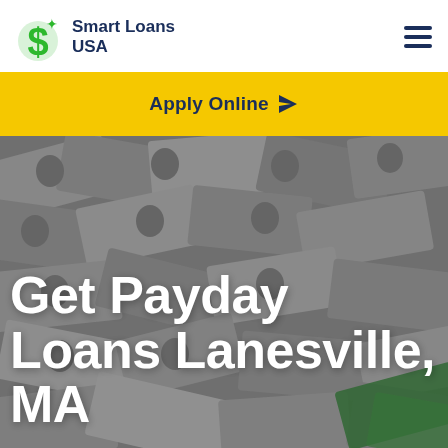Smart Loans USA
Apply Online
[Figure (photo): Background image of scattered US dollar bills in grayscale with a few green bills, overlaid with large white bold text reading 'Get Payday Loans Lanesville, MA']
Get Payday Loans Lanesville, MA